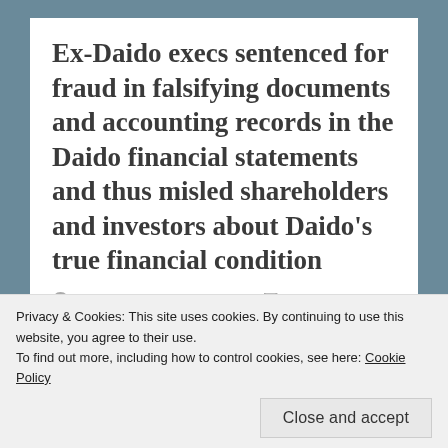Ex-Daido execs sentenced for fraud in falsifying documents and accounting records in the Daido financial statements and thus misled shareholders and investors about Daido's true financial condition
DECEMBER 27, 2014   LEAVE A COMMENT
http://www.nationmultimedia.com/business/Ex-Daido-execs-sentenced-for-fraud-30250735.html
Privacy & Cookies: This site uses cookies. By continuing to use this website, you agree to their use.
To find out more, including how to control cookies, see here: Cookie Policy
Close and accept